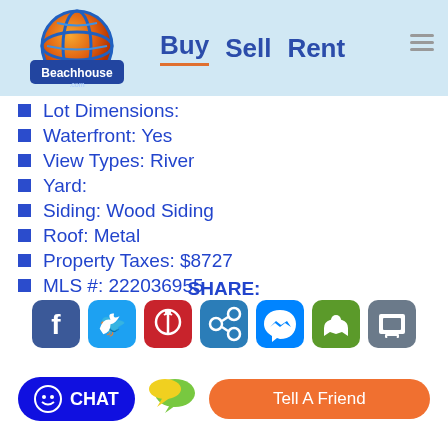Beachhouse.com — Buy | Sell | Rent
Lot Dimensions:
Waterfront: Yes
View Types: River
Yard:
Siding: Wood Siding
Roof: Metal
Property Taxes: $8727
MLS #: 222036955
SHARE:
[Figure (infographic): Social share buttons: Facebook, Twitter, Pinterest, Link, Messenger, Print (green), Print (grey)]
[Figure (infographic): Chat button (blue), speech bubble icon, Tell A Friend button (orange)]